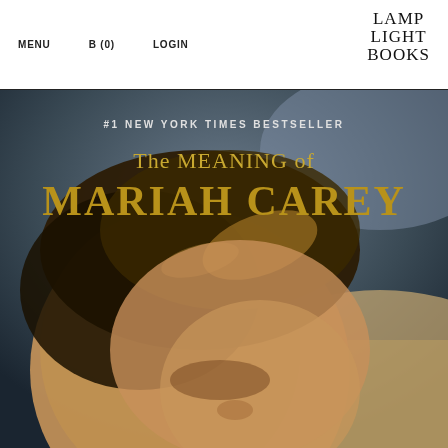MENU   B (0)   LOGIN   LAMP LIGHT BOOKS
[Figure (photo): Book cover of 'The Meaning of Mariah Carey' — #1 New York Times Bestseller — showing gold title text over a close-up photo of Mariah Carey with windswept hair against a warm outdoor background.]